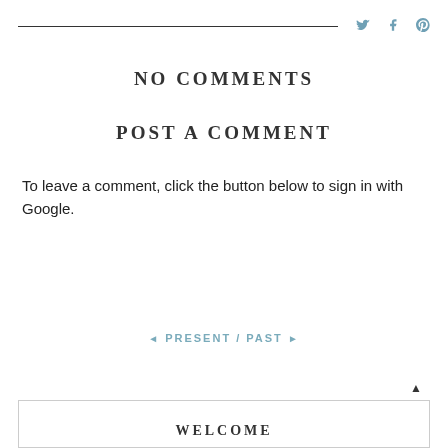— [social icons: Twitter, Facebook, Pinterest]
NO COMMENTS
POST A COMMENT
To leave a comment, click the button below to sign in with Google.
SIGN IN WITH GOOGLE
◄ PRESENT / PAST ►
WELCOME